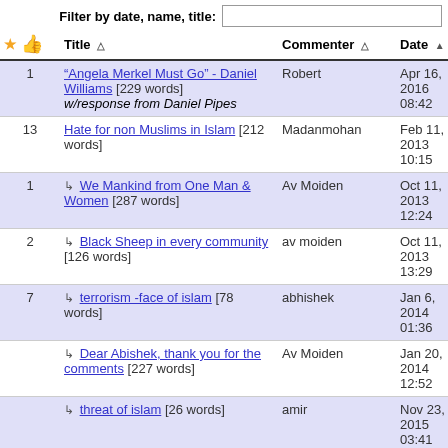Filter by date, name, title:
| *🖒 | Title | Commenter | Date |
| --- | --- | --- | --- |
| 1 | "Angela Merkel Must Go" - Daniel Williams [229 words] w/response from Daniel Pipes | Robert | Apr 16, 2016 08:42 |
| 13 | Hate for non Muslims in Islam [212 words] | Madanmohan | Feb 11, 2013 10:15 |
| 1 | ↳ We Mankind from One Man & Women [287 words] | Av Moiden | Oct 11, 2013 12:24 |
| 2 | ↳ Black Sheep in every community [126 words] | av moiden | Oct 11, 2013 13:29 |
| 7 | ↳ terrorism -face of islam [78 words] | abhishek | Jan 6, 2014 01:36 |
|  | ↳ Dear Abishek, thank you for the comments [227 words] | Av Moiden | Jan 20, 2014 12:52 |
|  | ↳ threat of islam [26 words] | amir | Nov 23, 2015 03:41 |